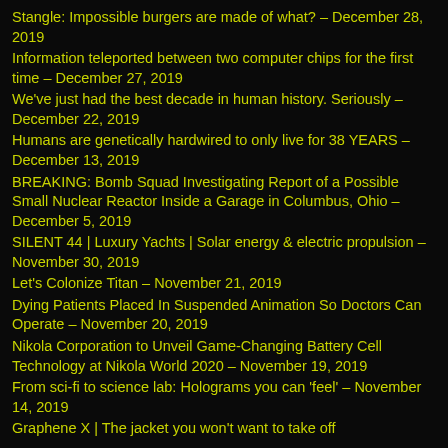Stangle: Impossible burgers are made of what? – December 28, 2019
Information teleported between two computer chips for the first time – December 27, 2019
We've just had the best decade in human history. Seriously – December 22, 2019
Humans are genetically hardwired to only live for 38 YEARS – December 13, 2019
BREAKING: Bomb Squad Investigating Report of a Possible Small Nuclear Reactor Inside a Garage in Columbus, Ohio – December 5, 2019
SILENT 44 | Luxury Yachts | Solar energy & electric propulsion – November 30, 2019
Let's Colonize Titan – November 21, 2019
Dying Patients Placed In Suspended Animation So Doctors Can Operate – November 20, 2019
Nikola Corporation to Unveil Game-Changing Battery Cell Technology at Nikola World 2020 – November 19, 2019
From sci-fi to science lab: Holograms you can 'feel' – November 14, 2019
Graphene X | The jacket you won't want to take off